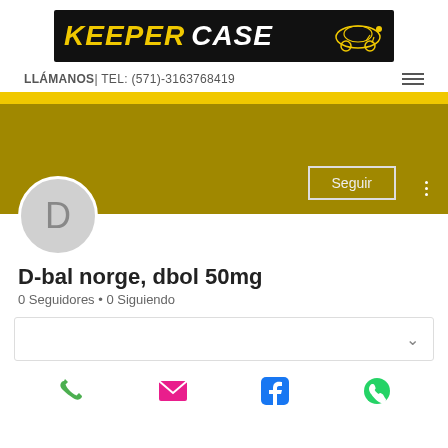[Figure (logo): Keeper Case logo banner: black background, 'KEEPER' in yellow bold italic, 'CASE' in white bold italic, with a car/robot icon on the right]
LLÁMANOS| TEL: (571)-3163768419
[Figure (infographic): User profile card on a dark gold/olive background with a 'Seguir' (Follow) button and three-dot menu. A circular grey avatar with letter D is shown below the banner.]
D-bal norge, dbol 50mg
0 Seguidores • 0 Siguiendo
[Figure (other): A white card/panel with a chevron/dropdown arrow on the right side]
[Figure (other): Bottom navigation bar with four icons: phone (green), mail/envelope (pink), Facebook (blue), WhatsApp (green)]